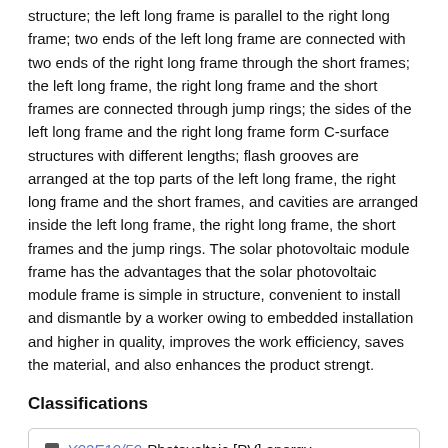structure; the left long frame is parallel to the right long frame; two ends of the left long frame are connected with two ends of the right long frame through the short frames; the left long frame, the right long frame and the short frames are connected through jump rings; the sides of the left long frame and the right long frame form C-surface structures with different lengths; flash grooves are arranged at the top parts of the left long frame, the right long frame and the short frames, and cavities are arranged inside the left long frame, the right long frame, the short frames and the jump rings. The solar photovoltaic module frame has the advantages that the solar photovoltaic module frame is simple in structure, convenient to install and dismantle by a worker owing to embedded installation and higher in quality, improves the work efficiency, saves the material, and also enhances the product strengt.
Classifications
Y02E10/50  Photovoltaic [PV] energy